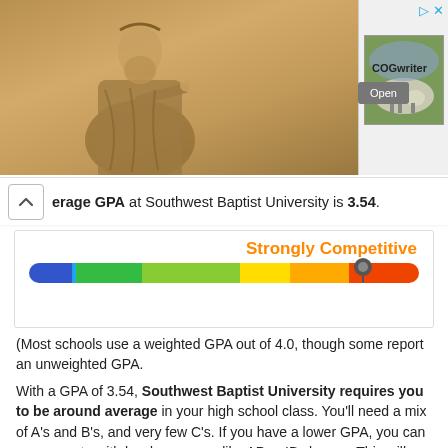[Figure (photo): Advertisement banner with a statue figure on a golden/brown background on the left, and a COGwriter ad with thumbnail image and Open button on the right]
erage GPA at Southwest Baptist University is 3.54.
[Figure (infographic): Strongly Competitive rating widget with a colored gradient bar (blue to red) and a marker positioned near the orange-red section, labeled 'Strongly Competitive' in orange text]
(Most schools use a weighted GPA out of 4.0, though some report an unweighted GPA.

With a GPA of 3.54, Southwest Baptist University requires you to be around average in your high school class. You'll need a mix of A's and B's, and very few C's. If you have a lower GPA, you can compensate with harder courses like AP or IB classes. This will help boost your weighted GPA and show your ability to take college classes.

If you're currently a junior or senior, your GPA is hard to change in time for college applications. If your GPA is at or below the school average of 3.54, you'll need a higher SAT or ACT score to